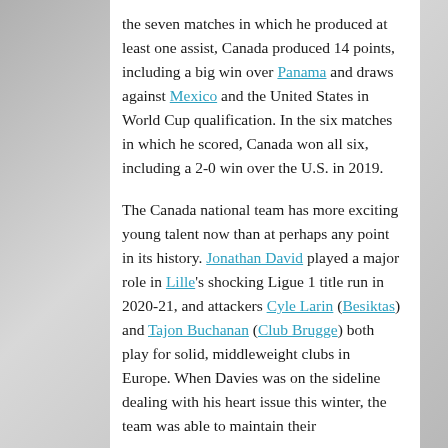the seven matches in which he produced at least one assist, Canada produced 14 points, including a big win over Panama and draws against Mexico and the United States in World Cup qualification. In the six matches in which he scored, Canada won all six, including a 2-0 win over the U.S. in 2019.
The Canada national team has more exciting young talent now than at perhaps any point in its history. Jonathan David played a major role in Lille's shocking Ligue 1 title run in 2020-21, and attackers Cyle Larin (Besiktas) and Tajon Buchanan (Club Brugge) both play for solid, middleweight clubs in Europe. When Davies was on the sideline dealing with his heart issue this winter, the team was able to maintain their